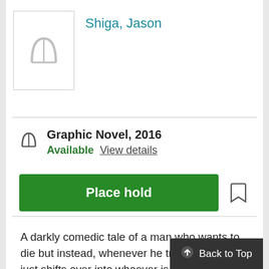[Figure (illustration): Book cover placeholder with open book icon in grey]
Shiga, Jason
Graphic Novel, 2016
Available  View details
Place hold
A darkly comedic tale of a man who wants to die but instead, whenever he tries to die, he just shifts over into whoever is around him. A brilliantly funny and darkly curious take of modern life by an expert artist. It's simplistic artwork counterpoints the bleak nature of the subject matter - a comedy about suicide!? And what results is boo...
Back to Top